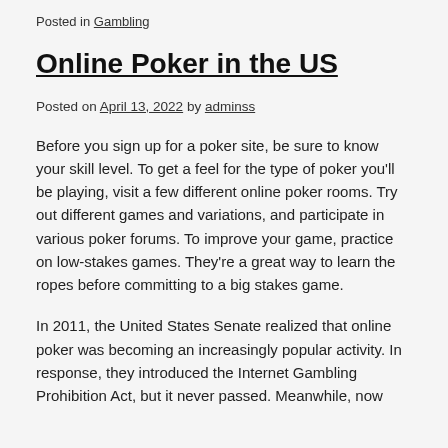Posted in Gambling
Online Poker in the US
Posted on April 13, 2022 by adminss
Before you sign up for a poker site, be sure to know your skill level. To get a feel for the type of poker you’ll be playing, visit a few different online poker rooms. Try out different games and variations, and participate in various poker forums. To improve your game, practice on low-stakes games. They’re a great way to learn the ropes before committing to a big stakes game.
In 2011, the United States Senate realized that online poker was becoming an increasingly popular activity. In response, they introduced the Internet Gambling Prohibition Act, but it never passed. Meanwhile, now